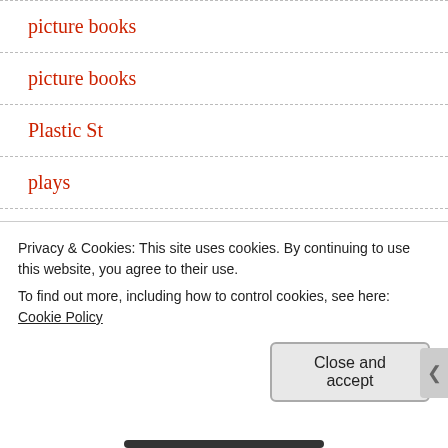picture books
picture books
Plastic St
plays
playwriting
plotting
Poetry
Privacy & Cookies: This site uses cookies. By continuing to use this website, you agree to their use.
To find out more, including how to control cookies, see here: Cookie Policy